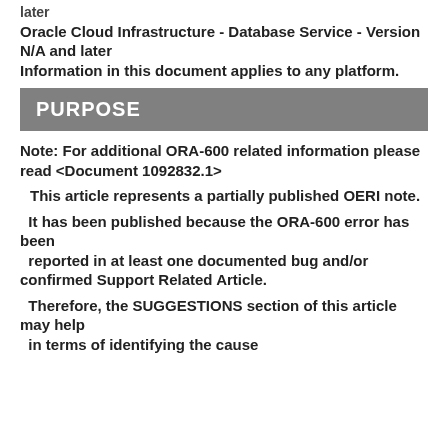later Oracle Cloud Infrastructure - Database Service - Version N/A and later Information in this document applies to any platform.
PURPOSE
Note: For additional ORA-600 related information please read <Document 1092832.1>
This article represents a partially published OERI note.
It has been published because the ORA-600 error has been reported in at least one documented bug and/or confirmed Support Related Article.
Therefore, the SUGGESTIONS section of this article may help in terms of identifying the cause